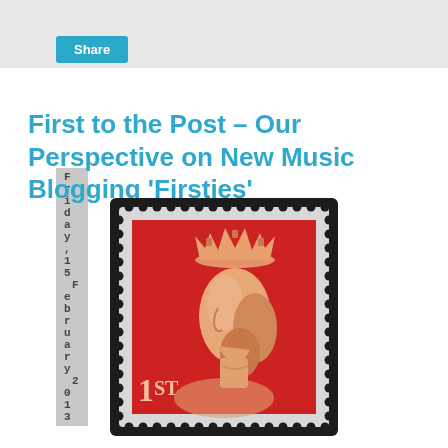Share
Friday, 15 February 2013
First to the Post – Our Perspective on New Music Blogging 'Firsties'
[Figure (photo): A Royal Mail first class stamp featuring a red background with a profile portrait of Queen Elizabeth II wearing a crown, and the text '1ST' in the lower left corner.]